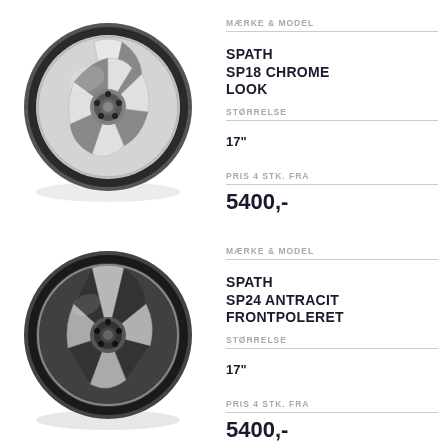[Figure (photo): Alloy wheel SPATH SP18 CHROME LOOK, silver with black accents, 5-spoke design]
MÆRKE & MODEL
SPATH SP18 CHROME LOOK
STØRRELSE
17"
PRIS 4 STK. FRA
5400,-
[Figure (photo): Alloy wheel SPATH SP24 ANTRACIT FRONTPOLERET, dark anthracite with polished front, 5-spoke star design]
MÆRKE & MODEL
SPATH SP24 ANTRACIT FRONTPOLERET
STØRRELSE
17"
PRIS 4 STK. FRA
5400,-